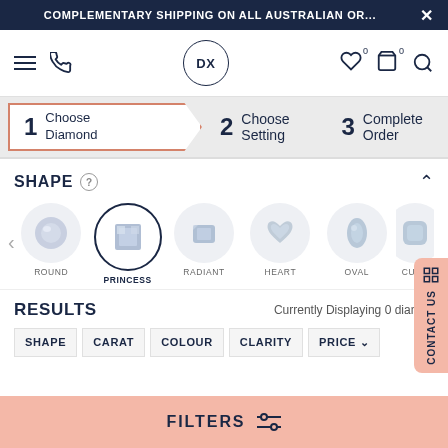COMPLEMENTARY SHIPPING ON ALL AUSTRALIAN OR...
[Figure (screenshot): Navigation bar with hamburger menu, phone icon, DX logo, heart/cart/search icons]
1 Choose Diamond   2 Choose Setting   3 Complete Order
SHAPE
[Figure (illustration): Diamond shape selector showing ROUND, PRINCESS (selected), RADIANT, HEART, OVAL, CUSHION shapes as circular icons]
RESULTS
Currently Displaying 0 diamonds
| SHAPE | CARAT | COLOUR | CLARITY | PRICE |
| --- | --- | --- | --- | --- |
FILTERS